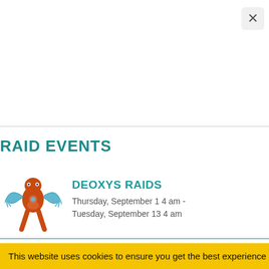[Figure (screenshot): White top area with close X button in top right corner]
RAID EVENTS
[Figure (illustration): Deoxys Pokemon illustration - orange and blue robotic creature]
DEOXYS RAIDS
Thursday, September 1 4 am - Tuesday, September 13 4 am
[Figure (illustration): Zacian Pokemon illustration - blue wolf-like creature]
ZACIAN RAIDS
Thursday, August 18 4 am -
This website uses cookies to ensure you get the best experience on o